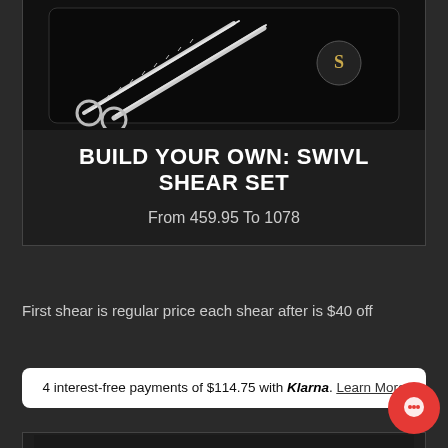[Figure (photo): Product image of Swivl shear set displayed in a dark case with scissors visible on black background]
BUILD YOUR OWN: SWIVL SHEAR SET
From 459.95 To 1078
First shear is regular price each shear after is $40 off
4 interest-free payments of $114.75 with Klarna. Learn More
[Figure (photo): Three professional hair cutting scissors/shears displayed on dark background]